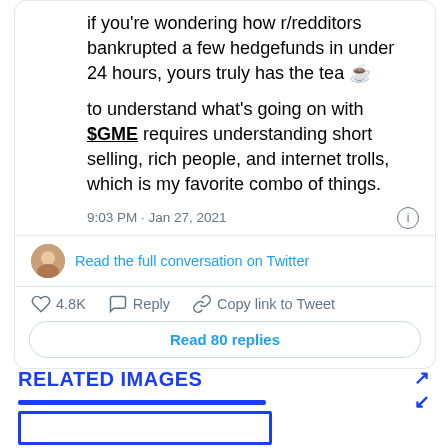if you're wondering how r/redditors bankrupted a few hedgefunds in under 24 hours, yours truly has the tea ☕

to understand what's going on with $GME requires understanding short selling, rich people, and internet trolls, which is my favorite combo of things.
9:03 PM · Jan 27, 2021
Read the full conversation on Twitter
♡ 4.8K   Reply   Copy link to Tweet
Read 80 replies
RELATED IMAGES